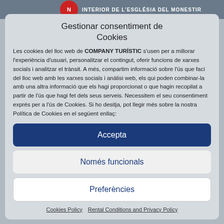[Figure (photo): Background photo strip showing interior of a monastery church, with a circular red logo/icon visible]
Gestionar consentiment de Cookies
Les cookies del lloc web de COMPANY TURÍSTIC s'usen per a millorar l'experiència d'usuari, personalitzar el contingut, oferir funcions de xarxes socials i analitzar el trànsit. A més, compartim informació sobre l'ús que faci del lloc web amb les xarxes socials i anàlisi web, els qui poden combinar-la amb una altra informació que els hagi proporcionat o que hagin recopilat a partir de l'ús que hagi fet dels seus serveis. Necessitem el seu consentiment exprés per a l'ús de Cookies. Si ho desitja, pot llegir més sobre la nostra Política de Cookies en el següent enllaç:
Accepta
Només funcionals
Preferències
Cookies Policy   Rental Conditions and Privacy Policy